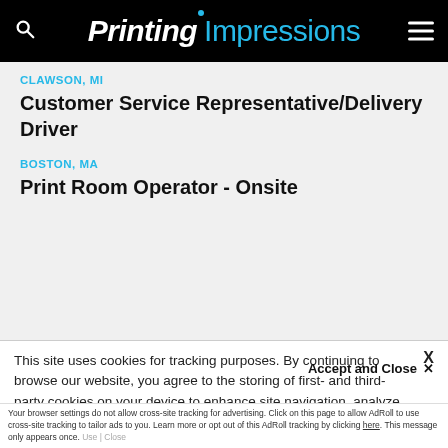Printing Impressions
CLAWSON, MI
Customer Service Representative/Delivery Driver
BOSTON, MA
Print Room Operator - Onsite
This site uses cookies for tracking purposes. By continuing to browse our website, you agree to the storing of first- and third-party cookies on your device to enhance site navigation, analyze site usage, and assist in our marketing and
Accept and Close ✕
Your browser settings do not allow cross-site tracking for advertising. Click on this page to allow AdRoll to use cross-site tracking to tailor ads to you. Learn more or opt out of this AdRoll tracking by clicking here. This message only appears once.